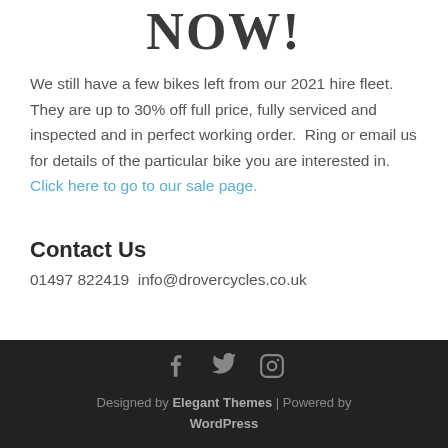NOW!
We still have a few bikes left from our 2021 hire fleet. They are up to 30% off full price, fully serviced and inspected and in perfect working order.  Ring or email us for details of the particular bike you are interested in.    Click here to go to our sale page.
Contact Us
01497 822419  info@drovercycles.co.uk
Designed by Elegant Themes | Powered by WordPress